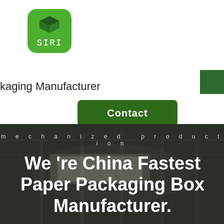[Figure (logo): SIRI logo: green rounded square with a 3D cube icon and 'SIRI' text below it]
kaging Manufacturer
[Figure (other): Dark green solid square used as a decorative element]
Contact
mechanized  production
We 're China Fastest Paper Packaging Box Manufacturer.